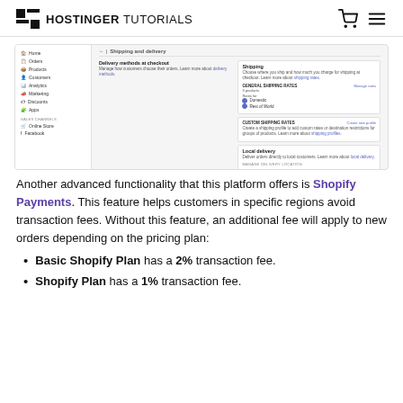HOSTINGER TUTORIALS
[Figure (screenshot): Shopify admin panel showing the Shipping and delivery settings page with sidebar navigation, delivery methods at checkout section, shipping section with general shipping rates, custom shipping rates, and local delivery options.]
Another advanced functionality that this platform offers is Shopify Payments. This feature helps customers in specific regions avoid transaction fees. Without this feature, an additional fee will apply to new orders depending on the pricing plan:
Basic Shopify Plan has a 2% transaction fee.
Shopify Plan has a 1% transaction fee.